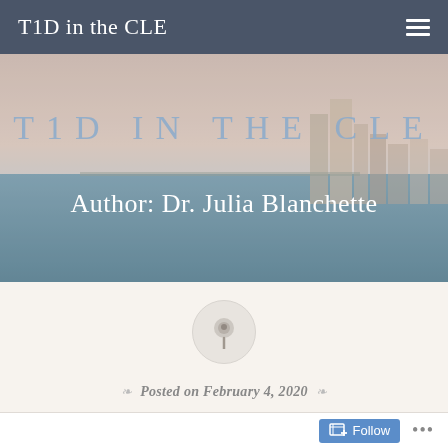T1D in the CLE
[Figure (photo): Hero banner image showing a city skyline (Cleveland) across a body of water with a hazy sky. Overlaid text reads 'T1D IN THE CLE' in large light blue spaced letters and 'Author: Dr. Julia Blanchette' in white serif text below.]
[Figure (illustration): A circular pushpin/thumbtack icon in light gray on a pale beige background]
Posted on February 4, 2020